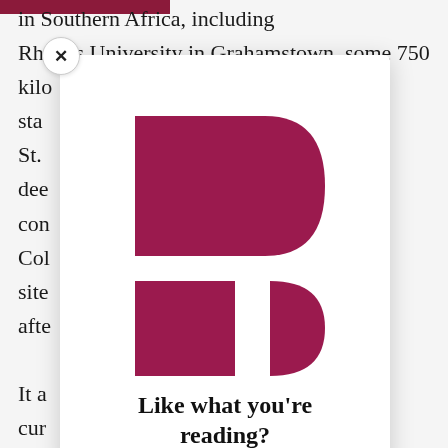in Southern Africa, including Rhodes University in Grahamstown, some 750 kilometres ... n standard ... of St. ... deeply ... connected ... College ... the site ... after ... It a ... n is currently ... l arts ... e cath ...
[Figure (logo): Partial circular/rounded-rectangle logo shapes in dark magenta/crimson forming a stylized 'P' or similar letterform, displayed in a white modal overlay popup]
Like what you're reading?